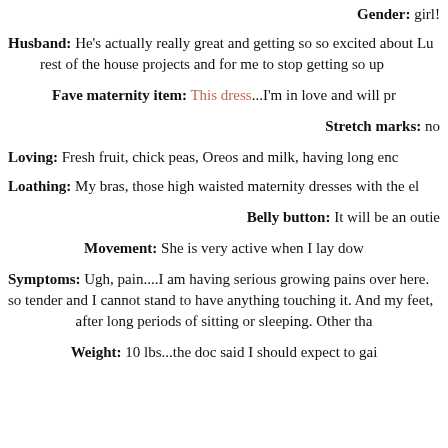Gender: girl!
Husband: He's actually really great and getting so so excited about Lu rest of the house projects and for me to stop getting so up
Fave maternity item: This dress...I'm in love and will pr
Stretch marks: no
Loving: Fresh fruit, chick peas, Oreos and milk, having long enc
Loathing: My bras, those high waisted maternity dresses with the el
Belly button: It will be an outie
Movement: She is very active when I lay dow
Symptoms: Ugh, pain....I am having serious growing pains over here. so tender and I cannot stand to have anything touching it. And my feet, after long periods of sitting or sleeping. Other tha
Weight: 10 lbs...the doc said I should expect to gai